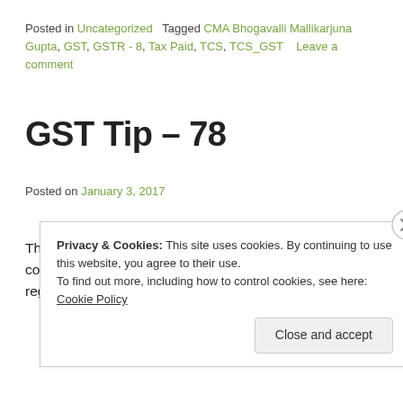Posted in Uncategorized   Tagged CMA Bhogavalli Mallikarjuna Gupta, GST, GSTR - 8, Tax Paid, TCS, TCS_GST    Leave a comment
GST Tip – 78
Posted on January 3, 2017
The amount of TCS_GST recovered / deducted by the e-commerce operator is eligible as input tax credit for the registered tax payer under GST.
Privacy & Cookies: This site uses cookies. By continuing to use this website, you agree to their use.
To find out more, including how to control cookies, see here: Cookie Policy
Close and accept